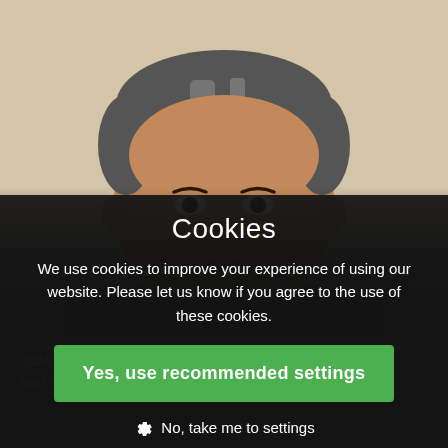[Figure (photo): A man with dark hair and olive skin, wearing a dark sweater over a blue collared shirt, smiling slightly. Background is a light beige/cream wall. Photo appears to be a video still or screenshot.]
Talking Ministries... congregation has its own story, its own challenges.
Cookies
We use cookies to improve your experience of using our website. Please let us know if you agree to the use of these cookies.
Yes, use recommended settings
No, take me to settings